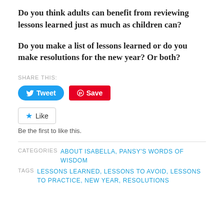Do you think adults can benefit from reviewing lessons learned just as much as children can?
Do you make a list of lessons learned or do you make resolutions for the new year? Or both?
SHARE THIS:
[Figure (other): Tweet button (blue, rounded) and Save button (red, rounded square) for social sharing]
[Figure (other): Like button with star icon and 'Be the first to like this.' text]
Be the first to like this.
CATEGORIES  ABOUT ISABELLA, PANSY'S WORDS OF WISDOM
TAGS  LESSONS LEARNED, LESSONS TO AVOID, LESSONS TO PRACTICE, NEW YEAR, RESOLUTIONS